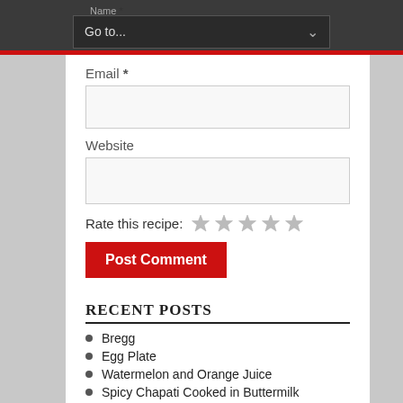Name * Go to...
Email *
Website
Rate this recipe: ★ ★ ★ ★ ★
Post Comment
RECENT POSTS
Bregg
Egg Plate
Watermelon and Orange Juice
Spicy Chapati Cooked in Buttermilk
Sprouts Dhokla
Moong Dal and Spinach Idli
Cucumber Soya Pancake